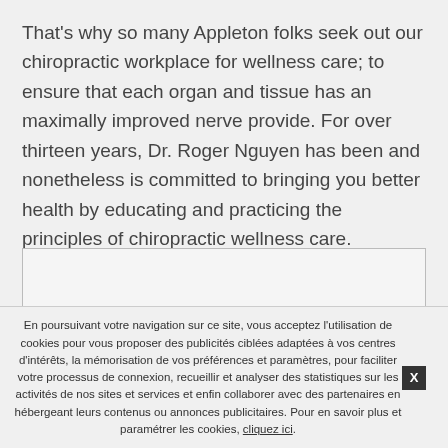That's why so many Appleton folks seek out our chiropractic workplace for wellness care; to ensure that each organ and tissue has an maximally improved nerve provide. For over thirteen years, Dr. Roger Nguyen has been and nonetheless is committed to bringing you better health by educating and practicing the principles of chiropractic wellness care.
[Figure (other): Empty bordered box/iframe area, likely an embedded widget or ad placeholder]
En poursuivant votre navigation sur ce site, vous acceptez l'utilisation de cookies pour vous proposer des publicités ciblées adaptées à vos centres d'intérêts, la mémorisation de vos préférences et paramètres, pour faciliter votre processus de connexion, recueillir et analyser des statistiques sur les activités de nos sites et services et enfin collaborer avec des partenaires en hébergeant leurs contenus ou annonces publicitaires. Pour en savoir plus et paramétrer les cookies, cliquez ici.